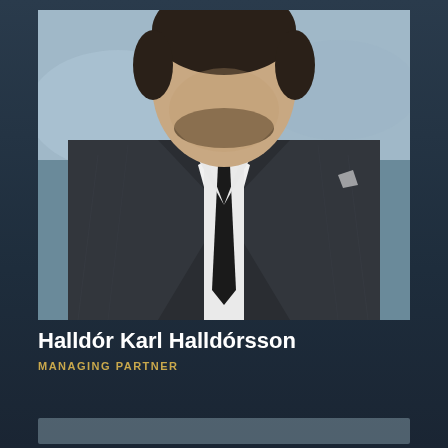[Figure (photo): Professional headshot of a man in a dark charcoal plaid suit with a white dress shirt and dark tie, photographed against a blurred outdoor background.]
Halldór Karl Halldórsson
MANAGING PARTNER